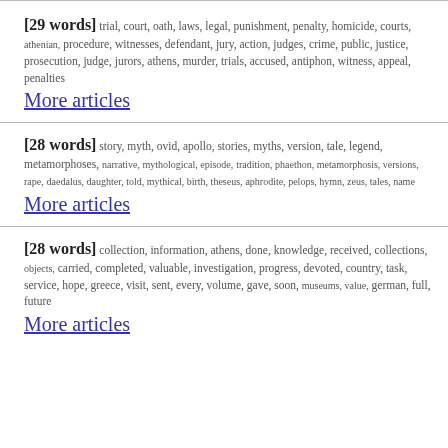[29 words] trial, court, oath, laws, legal, punishment, penalty, homicide, courts, athenian, procedure, witnesses, defendant, jury, action, judges, crime, public, justice, prosecution, judge, jurors, athens, murder, trials, accused, antiphon, witness, appeal, penalties More articles
[28 words] story, myth, ovid, apollo, stories, myths, version, tale, legend, metamorphoses, narrative, mythological, episode, tradition, phaethon, metamorphosis, versions, rape, daedalus, daughter, told, mythical, birth, theseus, aphrodite, pelops, hymn, zeus, tales, name More articles
[28 words] collection, information, athens, done, knowledge, received, collections, objects, carried, completed, valuable, investigation, progress, devoted, country, task, service, hope, greece, visit, sent, every, volume, gave, soon, museums, value, german, full, future More articles